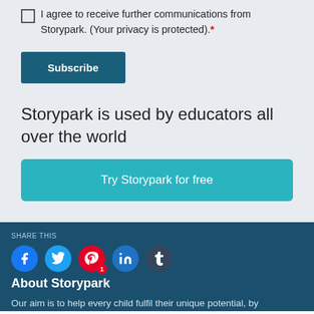I agree to receive further communications from Storypark. (Your privacy is protected).*
Subscribe
Storypark is used by educators all over the world
Try Storypark for free
About Storypark
Our aim is to help every child fulfil their unique potential, by